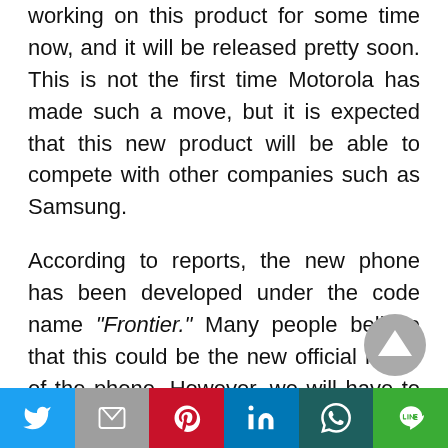working on this product for some time now, and it will be released pretty soon. This is not the first time Motorola has made such a move, but it is expected that this new product will be able to compete with other companies such as Samsung.
According to reports, the new phone has been developed under the code name "Frontier." Many people believe that this could be the new official name of the phone. However, we will have to wait and see when it is launched.